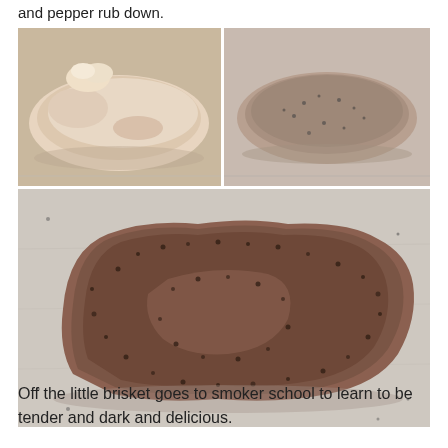and pepper rub down.
[Figure (photo): Three photos of a beef brisket: top-left shows raw untrimmed brisket on a tray, top-right shows brisket covered in salt and pepper rub, bottom shows a large brisket heavily coated in black pepper and salt rub on parchment paper.]
Off the little brisket goes to smoker school to learn to be tender and dark and delicious.